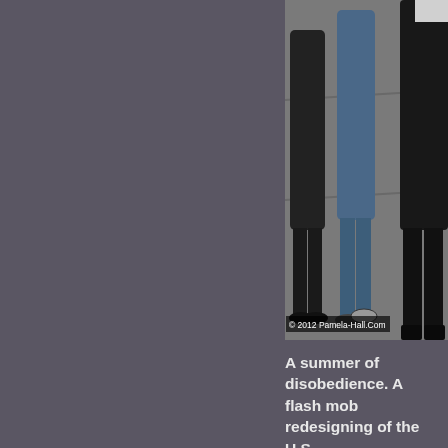[Figure (photo): Street scene showing legs of protesters walking on pavement, with a copyright watermark reading '© 2012 Pamela-Hall.Com']
A summer of disobedience. A flash mob redesigning of the U.S....
[Figure (photo): Protest scene with people holding a yellow banner reading 'Beyond War: A... Economy is Pe...' and a banner in Spanish 'los paises, uni... s la única solución!'. Some protesters wearing Veterans for Peace shirts and berets.]